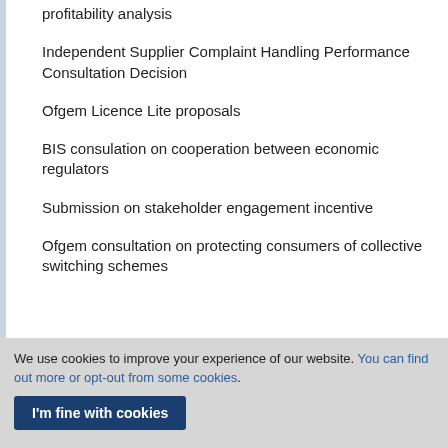profitability analysis
Independent Supplier Complaint Handling Performance Consultation Decision
Ofgem Licence Lite proposals
BIS consulation on cooperation between economic regulators
Submission on stakeholder engagement incentive
Ofgem consultation on protecting consumers of collective switching schemes
We use cookies to improve your experience of our website. You can find out more or opt-out from some cookies.